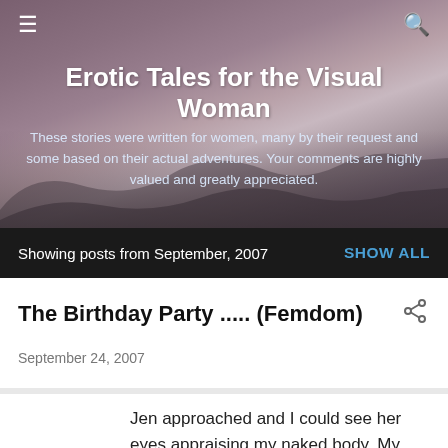Erotic Tales for the Visual Woman
These stories were written for women, many by their request and some based on their actual adventures. Your comments are highly valued and greatly appreciated.
Showing posts from September, 2007   SHOW ALL
The Birthday Party ..... (Femdom)
September 24, 2007
Jen approached and I could see her eyes appraising my naked body. My hands were behind my back and my feet were spread wide apart. Her eyes traveled from my chest